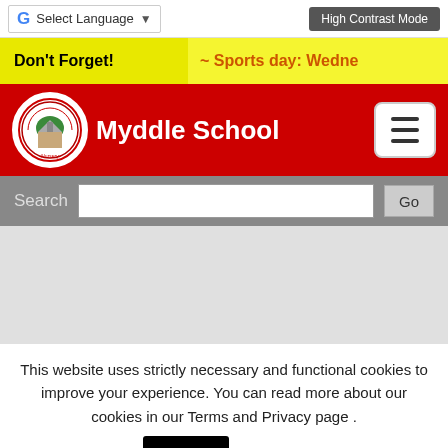Select Language | High Contrast Mode
Don't Forget! ~ Sports day: Wedne
[Figure (logo): Myddle CE Primary School and Nursery circular logo with church and tree]
Myddle School
Search  Go
This website uses strictly necessary and functional cookies to improve your experience. You can read more about our cookies in our Terms and Privacy page . Accept  Read More